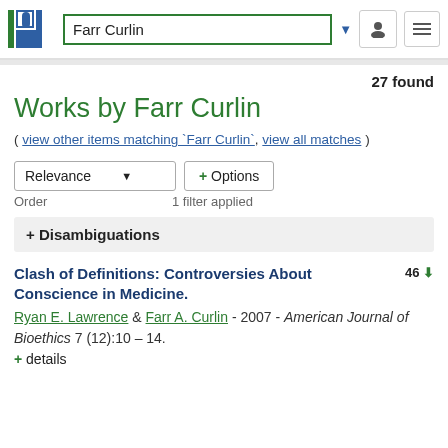Farr Curlin — PhilPapers search header
27 found
Works by Farr Curlin
( view other items matching `Farr Curlin`, view all matches )
Relevance [dropdown] + Options | Order  1 filter applied
+ Disambiguations
Clash of Definitions: Controversies About Conscience in Medicine. 46 [download]
Ryan E. Lawrence & Farr A. Curlin - 2007 - American Journal of Bioethics 7 (12):10 – 14.
+ details